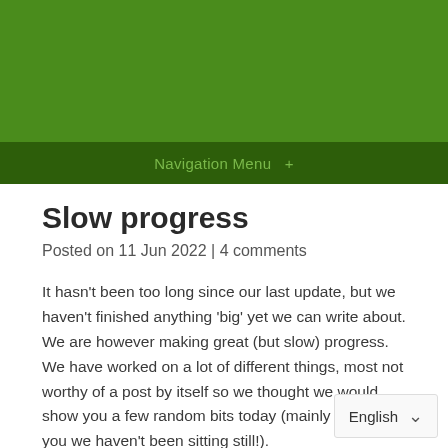Navigation Menu +
Slow progress
Posted on 11 Jun 2022 | 4 comments
It hasn't been too long since our last update, but we haven't finished anything 'big' yet we can write about. We are however making great (but slow) progress. We have worked on a lot of different things, most not worthy of a post by itself so we thought we would show you a few random bits today (mainly to show you we haven't been sitting still!).